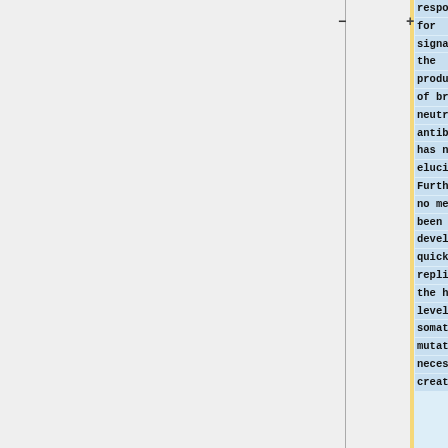responsible for signaling the production of broadly neutralizing antibodies has not been elucidated. Furthermore, no means has been developed to quickly replicate the high levels of somatic mutation necessary to create